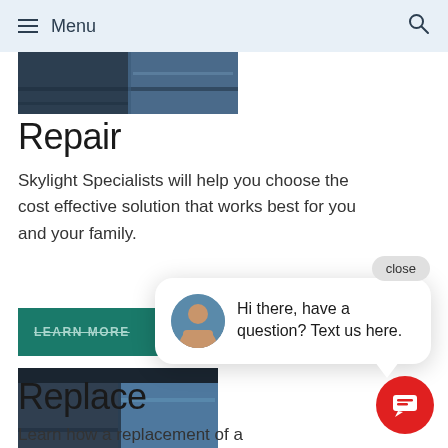Menu
[Figure (photo): Partial photo of skylight/roof structure, dark tones]
Repair
Skylight Specialists will help you choose the cost effective solution that works best for you and your family.
LEARN MORE (button, teal background, strikethrough text)
[Figure (photo): Partial photo of skylight/roof structure with sky visible]
Replace
Learn how a replacement of a
close
Hi there, have a question? Text us here.